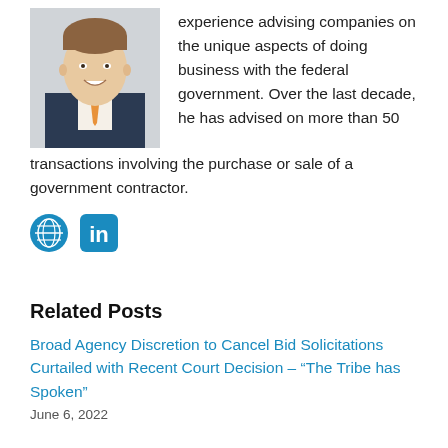[Figure (photo): Headshot of a man in a dark suit and orange tie, smiling, against a light background]
experience advising companies on the unique aspects of doing business with the federal government. Over the last decade, he has advised on more than 50 transactions involving the purchase or sale of a government contractor.
[Figure (other): Globe icon (blue) and LinkedIn icon (blue)]
Related Posts
Broad Agency Discretion to Cancel Bid Solicitations Curtailed with Recent Court Decision – “The Tribe has Spoken”
June 6, 2022
And . . . They're Off! Contractors Race to Comply Now that